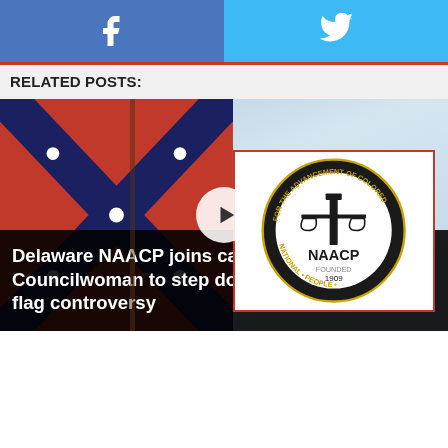[Figure (other): Social sharing buttons: Facebook (blue) and Twitter (light blue) with white icons]
RELATED POSTS:
[Figure (photo): Video thumbnail showing a Confederate flag on the left and the NAACP circular seal/logo on the right, with a play button in the center, against a blue sky background]
Delaware NAACP joins calls for Georgetown Councilwoman to step down over confederate flag controversy